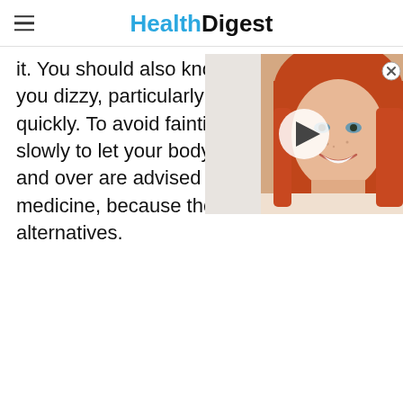Health Digest
it. You should also know you dizzy, particularly quickly. To avoid fainting slowly to let your body and over are advised against taking this medicine, because there are safer alternatives.
[Figure (photo): Video thumbnail showing a smiling young woman with red hair, with a play button overlay in the center. This is a video advertisement overlay on top of the article content.]